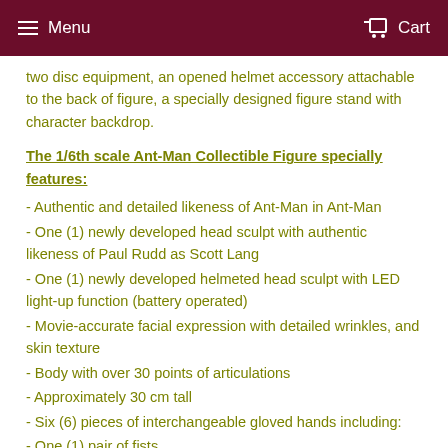Menu   Cart
two disc equipment, an opened helmet accessory attachable to the back of figure, a specially designed figure stand with character backdrop.
The 1/6th scale Ant-Man Collectible Figure specially features:
- Authentic and detailed likeness of Ant-Man in Ant-Man
- One (1) newly developed head sculpt with authentic likeness of Paul Rudd as Scott Lang
- One (1) newly developed helmeted head sculpt with LED light-up function (battery operated)
- Movie-accurate facial expression with detailed wrinkles, and skin texture
- Body with over 30 points of articulations
- Approximately 30 cm tall
- Six (6) pieces of interchangeable gloved hands including:
- One (1) pair of fists
- One (1) pair of open hands
- One (1) left hand for holding disc equipment